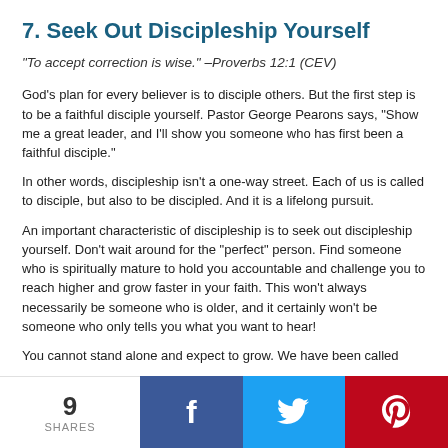7. Seek Out Discipleship Yourself
“To accept correction is wise.” –Proverbs 12:1 (CEV)
God’s plan for every believer is to disciple others. But the first step is to be a faithful disciple yourself. Pastor George Pearons says, “Show me a great leader, and I’ll show you someone who has first been a faithful disciple.”
In other words, discipleship isn’t a one-way street. Each of us is called to disciple, but also to be discipled. And it is a lifelong pursuit.
An important characteristic of discipleship is to seek out discipleship yourself. Don’t wait around for the “perfect” person. Find someone who is spiritually mature to hold you accountable and challenge you to reach higher and grow faster in your faith. This won’t always necessarily be someone who is older, and it certainly won’t be someone who only tells you what you want to hear!
You cannot stand alone and expect to grow. We have been called
9 SHARES | Facebook | Twitter | Pinterest